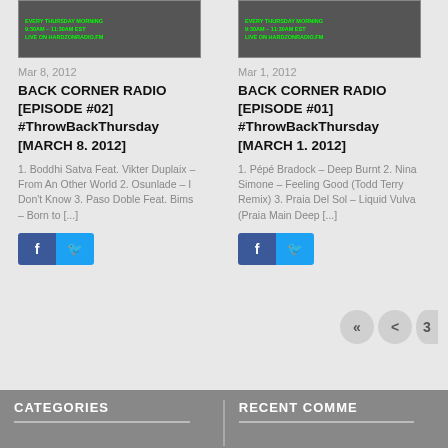[Figure (photo): Back Corner Radio thumbnail image showing broadcast schedule text on dark background, left column]
Mar 8, 2012
BACK CORNER RADIO [EPISODE #02] #ThrowBackThursday [MARCH 8. 2012]
1. Boddhi Satva Feat. Vikter Duplaix – From An Other World 2. Osunlade – I Don't Know 3. Paso Doble Feat. Bims – Born to [...]
[Figure (photo): Back Corner Radio thumbnail image showing broadcast schedule text on dark background, right column]
Mar 1, 2012
BACK CORNER RADIO [EPISODE #01] #ThrowBackThursday [MARCH 1. 2012]
1. Pépé Bradock – Deep Burnt 2. Nina Simone – Feeling Good (Todd Terry Remix) 3. Praia Del Sol – Liquid Vulva (Praia Main Deep [...]
CATEGORIES     RECENT COMME